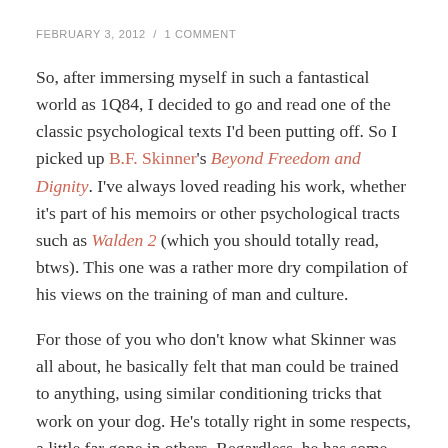FEBRUARY 3, 2012  /  1 COMMENT
So, after immersing myself in such a fantastical world as 1Q84, I decided to go and read one of the classic psychological texts I'd been putting off. So I picked up B.F. Skinner's Beyond Freedom and Dignity. I've always loved reading his work, whether it's part of his memoirs or other psychological tracts such as Walden 2 (which you should totally read, btws). This one was a rather more dry compilation of his views on the training of man and culture.
For those of you who don't know what Skinner was all about, he basically felt that man could be trained to anything, using similar conditioning tricks that work on your dog. He's totally right in some respects, a little far gone in others. Regardless, he has some very interesting ideas about the fallacy of trying to create a utopia that is larger than a small group (small enough that everyone